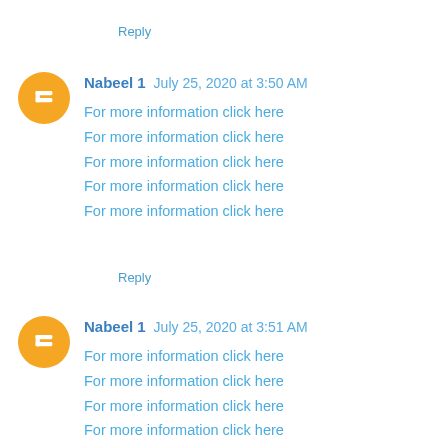Reply
Nabeel 1  July 25, 2020 at 3:50 AM
For more information click here
For more information click here
For more information click here
For more information click here
For more information click here
Reply
Nabeel 1  July 25, 2020 at 3:51 AM
For more information click here
For more information click here
For more information click here
For more information click here
For more information click here